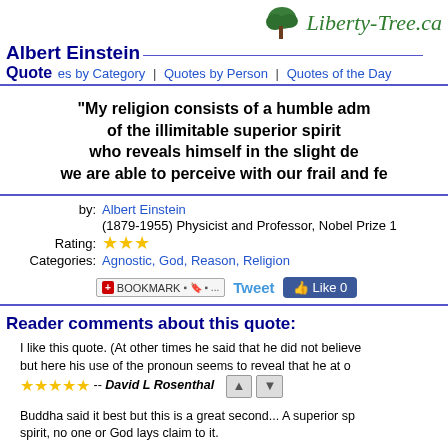Liberty-Tree.ca
Albert Einstein Quote
Quotes by Category | Quotes by Person | Quotes of the Day
"My religion consists of a humble adm of the illimitable superior spirit who reveals himself in the slight de we are able to perceive with our frail and fe
by: Albert Einstein (1879-1955) Physicist and Professor, Nobel Prize 1
Rating: ★★★
Categories: Agnostic, God, Reason, Religion
Reader comments about this quote:
I like this quote. (At other times he said that he did not believe but here his use of the pronoun seems to reveal that he at o -- David L Rosenthal
Buddha said it best but this is a great second... A superior sp spirit, no one or God lays claim to it.